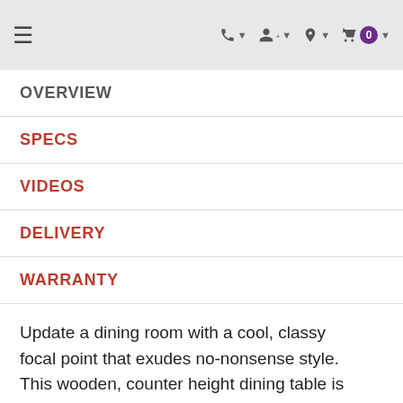Navigation bar with hamburger menu, phone, account, location, and cart (0) icons
OVERVIEW
SPECS
VIDEOS
DELIVERY
WARRANTY
Update a dining room with a cool, classy focal point that exudes no-nonsense style. This wooden, counter height dining table is beautifully crafted with a weathered, burnished brown finish. The double pedestal design offers ample support and a subtly stylish look. A 20-inch extension leaf expands the surface to provide extra place settings for guests. This rustic dining table is a